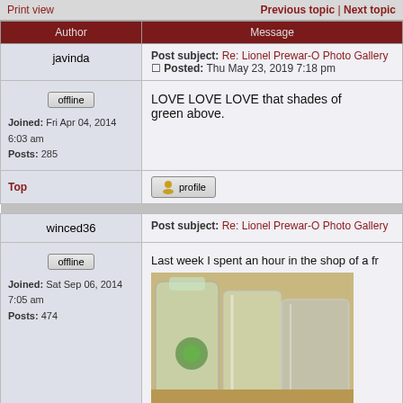Print view | Previous topic | Next topic
| Author | Message |
| --- | --- |
| javinda | Post subject: Re: Lionel Prewar-O Photo Gallery
Posted: Thu May 23, 2019 7:18 pm |
| offline
Joined: Fri Apr 04, 2014 6:03 am
Posts: 285 | LOVE LOVE LOVE that shades of green above. |
| Top | profile |
| winced36 | Post subject: Re: Lionel Prewar-O Photo Gallery |
| offline
Joined: Sat Sep 06, 2014 7:05 am
Posts: 474 | Last week I spent an hour in the shop of a fr... |
[Figure (photo): Photo of glass items including what appears to be decorative glass pitchers or mugs with green accents, on a wooden surface]